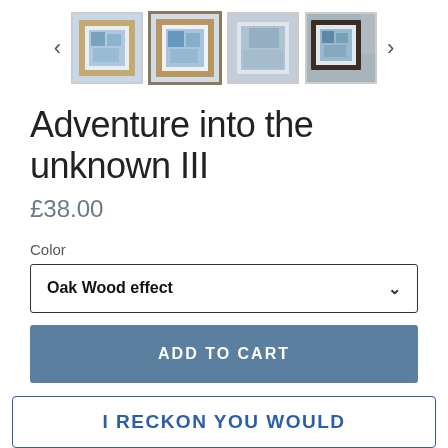[Figure (screenshot): Image gallery carousel with 4 thumbnail images of a framed artwork 'Adventure into the unknown III', with left and right navigation arrows]
Adventure into the unknown III
£38.00
Color
Oak Wood effect
ADD TO CART
I RECKON YOU WOULD